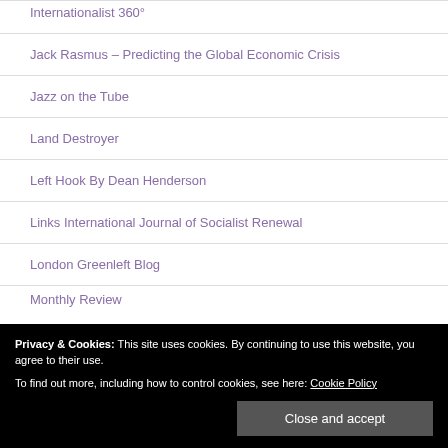Internationalist 360°
Jack Rasmus – Predicting the Global Economic Crisis
Jazz on the Tube
Land Destroyer
Left Hook By Dean Henderson
Links International Journal of Socialist Renewal
London Greenleft Blog
Privacy & Cookies: This site uses cookies. By continuing to use this website, you agree to their use.
To find out more, including how to control cookies, see here: Cookie Policy
Monthly Review